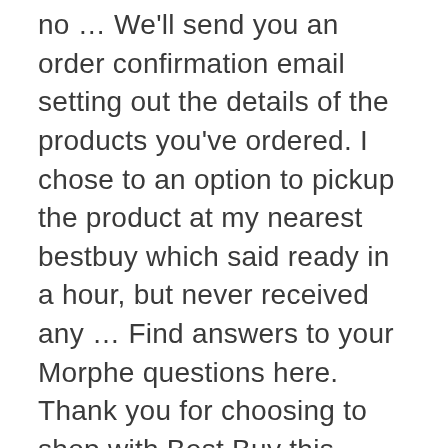no … We'll send you an order confirmation email setting out the details of the products you've ordered. I chose to an option to pickup the product at my nearest bestbuy which said ready in a hour, but never received any … Find answers to your Morphe questions here. Thank you for choosing to shop with Best Buy this holiday season! If I hadn't called I don't think I would have ever got a refund. With COVID-19, we are managing the status of our global stores following the guidance of local governments, the CDC, and WHO. A confirmation email is an automatic response email that is triggered by an action your customer executed. However, I never got a receipt or any email with information